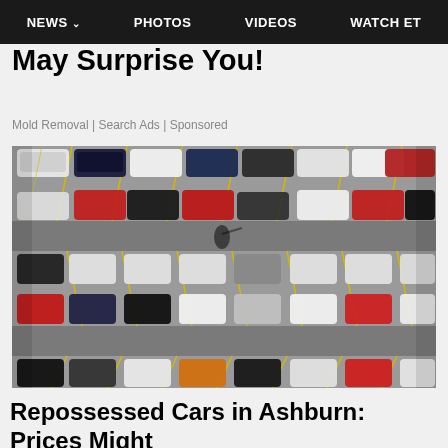NEWS  PHOTOS  VIDEOS  WATCH ET
May Surprise You!
Mold Removal | Search Ads | Sponsored
[Figure (photo): Aerial view of a parking lot filled with rows of colorful cars parked diagonally, viewed from above, showing various colors including red, black, white, blue, and orange vehicles.]
Repossessed Cars in Ashburn: Prices Might